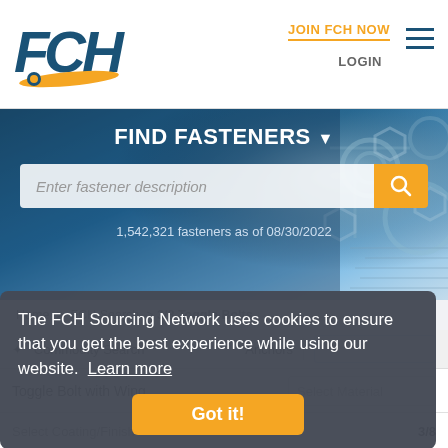[Figure (logo): FCH logo with blue letters and orange swoosh accent]
JOIN FCH NOW
LOGIN
FIND FASTENERS
Enter fastener description
1,542,321 fasteners as of 08/30/2022
Home > FCH Search > 3/8 Toggle Bolts
Commodity Search   Anchors
The FCH Sourcing Network uses cookies to ensure that you get the best experience while using our website. Learn more
Got it!
Toggle Bolt with Wing   Select Material
Select Coating/Finish   3/8